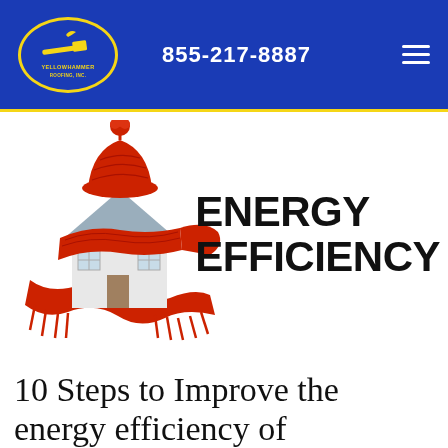855-217-8887
[Figure (illustration): A miniature house model wrapped in a red knitted scarf and wearing a red wool hat with a pompom, symbolizing home energy efficiency and warmth insulation.]
ENERGY EFFICIENCY
10 Steps to Improve the energy efficiency of